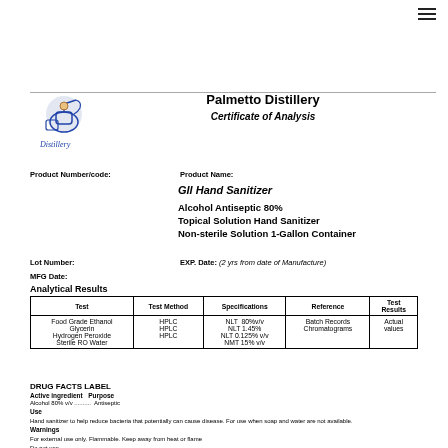Palmetto Distillery
Certificate of Analysis
Product Number/code:
Product Name:
GII Hand Sanitizer
Alcohol Antiseptic 80% Topical Solution Hand Sanitizer Non-sterile Solution 1-Gallon Container
Lot Number:
EXP. Date: (2 yrs from date of Manufacture)
MFG Date:
Analytical Results
| Test | Test Method | Specifications | Reference | Test Results |
| --- | --- | --- | --- | --- |
| Food Grade Ethanol
Glycerin
Hydrogen Peroxide
Sterile RO Water | HPLC
HPLC
HPLC | NLT 80%v/v
NLT 1.45%
NLT 0.125% v/v
NMT 15% v/v | Batch Records
Chromatograms | Actual values |
DRUG FACTS LABEL
Active ingredient  Purpose
Alcohol 80% v/v ........  Antiseptic
Use
Hand sanitizer to help reduce bacteria that potentially can cause disease. For use when soap and water are not available.
Warnings
For external use only. Flammable. Keep away from heat or flame
Do not use